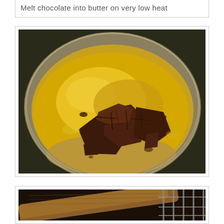Melt chocolate into butter on very low heat
[Figure (photo): Photo of dark chocolate pieces sitting in melted butter inside a metal saucepan, viewed from above. The butter is golden/yellow and partially melted around the chocolate chunks.]
[Figure (photo): Partial photo of a wooden spoon resting on a metal grid or rack, showing the beginning of the next cooking step.]